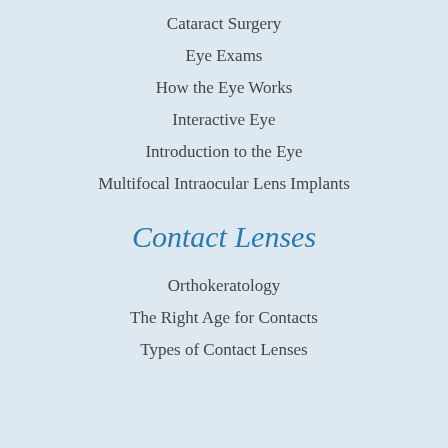Cataract Surgery
Eye Exams
How the Eye Works
Interactive Eye
Introduction to the Eye
Multifocal Intraocular Lens Implants
Contact Lenses
Orthokeratology
The Right Age for Contacts
Types of Contact Lenses